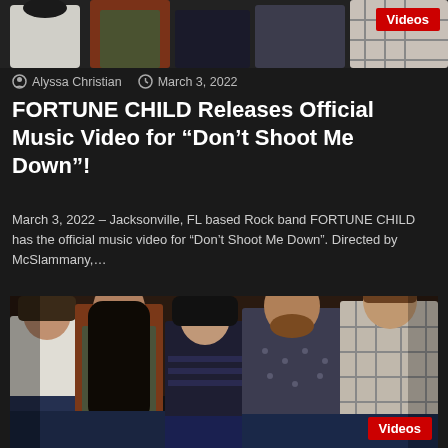[Figure (photo): Top portion of a band photo showing torsos/shoulders of multiple people, cropped at the top of the page]
Videos
Alyssa Christian   March 3, 2022
FORTUNE CHILD Releases Official Music Video for “Don’t Shoot Me Down”!
March 3, 2022 – Jacksonville, FL based Rock band FORTUNE CHILD has the official music video for “Don’t Shoot Me Down”. Directed by McSlammany,…
[Figure (photo): Band photo of five members of FORTUNE CHILD standing together indoors]
Videos